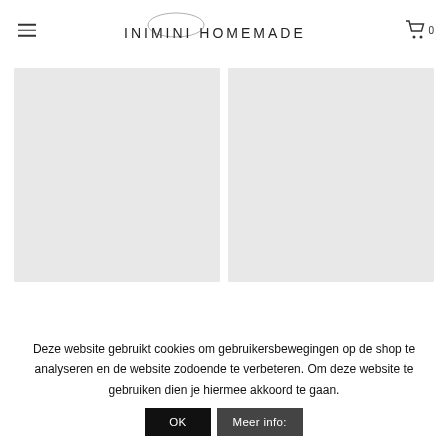INIMINI HOMEMADE
[Figure (photo): Two light grey placeholder product image cards side by side]
Deze website gebruikt cookies om gebruikersbewegingen op de shop te analyseren en de website zodoende te verbeteren. Om deze website te gebruiken dien je hiermee akkoord te gaan.